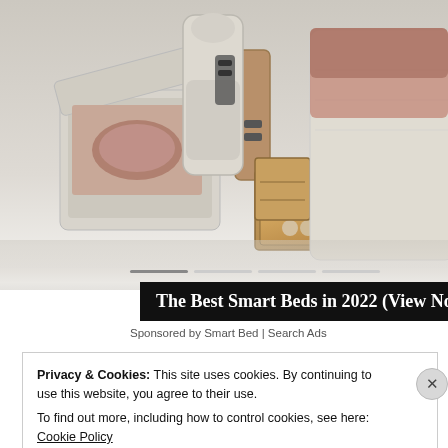[Figure (photo): A smart/luxury bed with multiple storage compartments open, including a pull-out drawer, side ottoman storage, and a reclining lounger attachment. The bed is upholstered in cream/beige fabric. Background is light gray/white.]
The Best Smart Beds in 2022 (View Now)
Sponsored by Smart Bed | Search Ads
Privacy & Cookies: This site uses cookies. By continuing to use this website, you agree to their use.
To find out more, including how to control cookies, see here: Cookie Policy
Close and accept